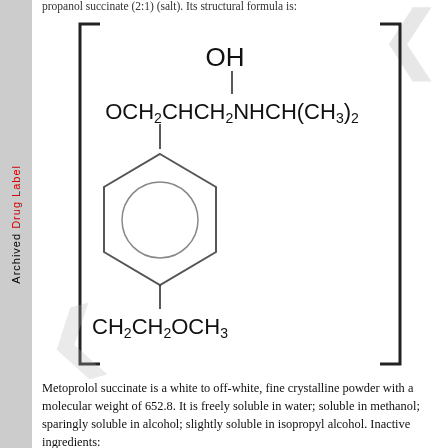propanol succinate (2:1) (salt). Its structural formula is:
[Figure (engineering-diagram): Chemical structural formula of metoprolol succinate showing benzene ring with OCH2CHCH2NHCH(CH3)2 substituent (with OH group) and CH2CH2OCH3 substituent, enclosed in square brackets]
Metoprolol succinate is a white to off-white, fine crystalline powder with a molecular weight of 652.8. It is freely soluble in water; soluble in methanol; sparingly soluble in alcohol; slightly soluble in isopropyl alcohol. Inactive ingredients: